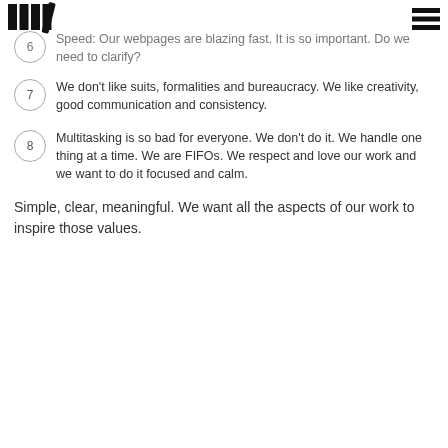[Logo] [Hamburger menu]
Speed: Our webpages are blazing fast. It is so important. Do we need to clarify?
We don't like suits, formalities and bureaucracy. We like creativity, good communication and consistency.
Multitasking is so bad for everyone. We don't do it. We handle one thing at a time. We are FIFOs. We respect and love our work and we want to do it focused and calm.
Simple, clear, meaningful. We want all the aspects of our work to inspire those values.